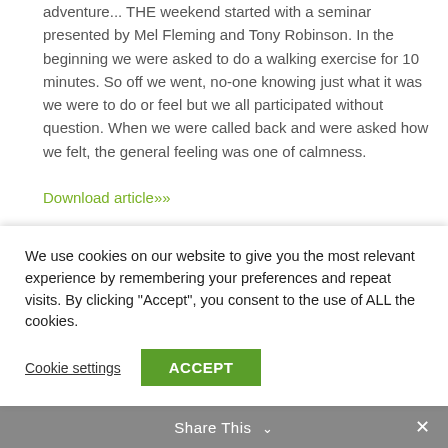adventure... THE weekend started with a seminar presented by Mel Fleming and Tony Robinson. In the beginning we were asked to do a walking exercise for 10 minutes. So off we went, no-one knowing just what it was we were to do or feel but we all participated without question. When we were called back and were asked how we felt, the general feeling was one of calmness.
Download article»»
[Figure (photo): Small broken image placeholder icon in a bordered box]
Balance and hindquarter
We use cookies on our website to give you the most relevant experience by remembering your preferences and repeat visits. By clicking "Accept", you consent to the use of ALL the cookies.
Cookie settings
ACCEPT
Share This ∨  ✕